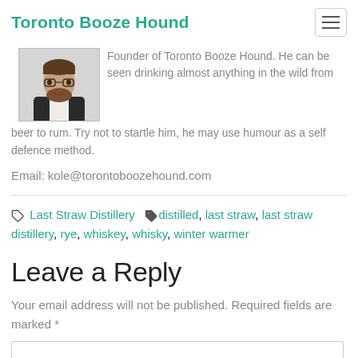Toronto Booze Hound
[Figure (photo): Headshot photo of a man with glasses and beard wearing a dark jacket]
Founder of Toronto Booze Hound. He can be seen drinking almost anything in the wild from beer to rum. Try not to startle him, he may use humour as a self defence method.
Email: kole@torontoboozehound.com
Last Straw Distillery  distilled, last straw distillery, rye, whiskey, whisky, winter warmer
Leave a Reply
Your email address will not be published. Required fields are marked *